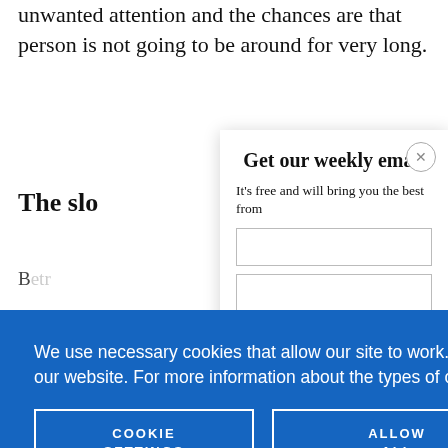unwanted attention and the chances are that person is not going to be around for very long.
The slo
Get our weekly email
It's free and will bring you the best from
We use necessary cookies that allow our site to work. We also set optional cookies that help us improve our website. For more information about the types of cookies we use. READ OUR COOKIES POLICY HERE
COOKIE SETTINGS
ALLOW ALL COOKIES
data.